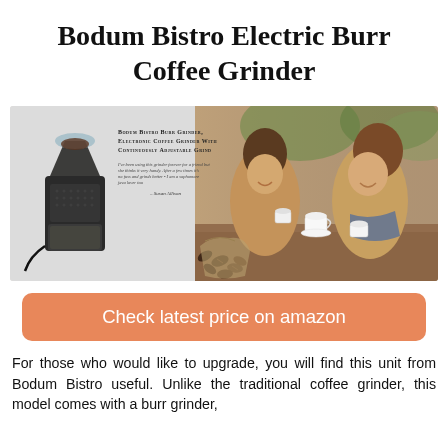Bodum Bistro Electric Burr Coffee Grinder
[Figure (photo): Composite image: left side shows a Bodum Bistro Burr Grinder product photo with overlay text and coffee beans; right side shows two women smiling and drinking coffee.]
Check latest price on amazon
For those who would like to upgrade, you will find this unit from Bodum Bistro useful. Unlike the traditional coffee grinder, this model comes with a burr grinder...